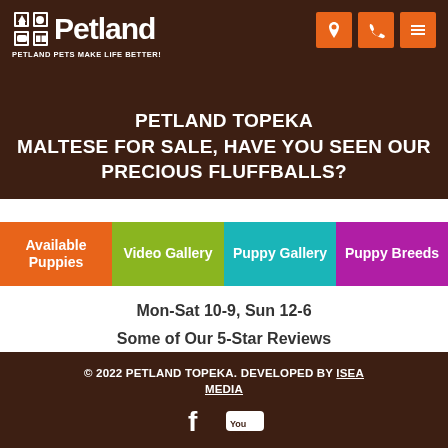[Figure (logo): Petland logo with pet house icon and text 'Petland' and tagline 'Petland Pets Make Life Better!']
[Figure (infographic): Three orange icon buttons: location pin, phone, hamburger menu]
PETLAND TOPEKA MALTESE FOR SALE, HAVE YOU SEEN OUR PRECIOUS FLUFFBALLS?
Available Puppies
Video Gallery
Puppy Gallery
Puppy Breeds
Mon-Sat 10-9, Sun 12-6
Some of Our 5-Star Reviews
5.0 based on 23 ratings.
© 2022 PETLAND TOPEKA. DEVELOPED BY ISEA MEDIA